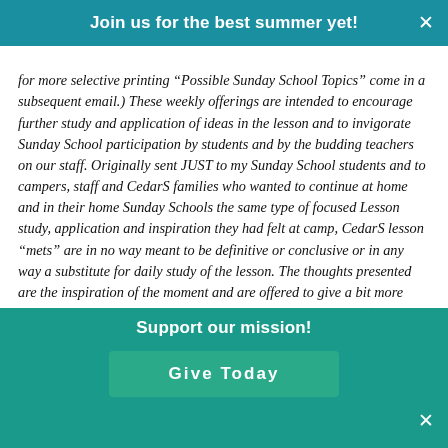Join us for the best summer yet!
for more selective printing “Possible Sunday School Topics” come in a subsequent email.) These weekly offerings are intended to encourage further study and application of ideas in the lesson and to invigorate Sunday School participation by students and by the budding teachers on our staff. Originally sent JUST to my Sunday School students and to campers, staff and CedarS families who wanted to continue at home and in their home Sunday Schools the same type of focused Lesson study, application and inspiration they had felt at camp, CedarS lesson “mets” are in no way meant to be definitive or conclusive or in any way a substitute for daily study of the lesson. The thoughts presented are the inspiration of the moment and are offered to give a bit more dimension and background as well as new angles (and angels) on the daily applicability of some of the ideas and passages being studied. The weekly Bible Lessons are copyrighted
Support our mission!
Give Today